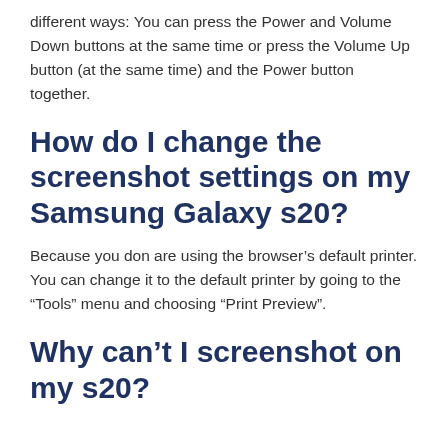different ways: You can press the Power and Volume Down buttons at the same time or press the Volume Up button (at the same time) and the Power button together.
How do I change the screenshot settings on my Samsung Galaxy s20?
Because you don are using the browser's default printer. You can change it to the default printer by going to the “Tools” menu and choosing “Print Preview”.
Why can’t I screenshot on my s20?